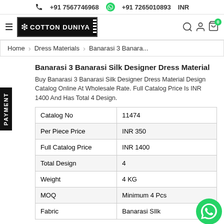+91 7567746968   +91 7265010893   INR
Cotton Duniya
Home > Dress Materials > Banarasi 3 Banara...
Banarasi 3 Banarasi Silk Designer Dress Material
Buy Banarasi 3 Banarasi Silk Designer Dress Material Design Catalog Online At Wholesale Rate. Full Catalog Price Is INR 1400 And Has Total 4 Design.
|  |  |
| --- | --- |
| Catalog No | 11474 |
| Per Piece Price | INR 350 |
| Full Catalog Price | INR 1400 |
| Total Design | 4 |
| Weight | 4 KG |
| MOQ | Minimum 4 Pcs |
| Fabric | Banarasi Silk |